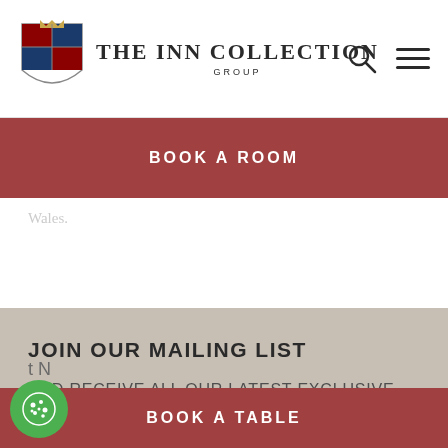THE INN COLLECTION GROUP
BOOK A ROOM
Wales.
JOIN OUR MAILING LIST
AND RECEIVE ALL OUR LATEST EXCLUSIVE 'INN CLUB' MEMBERS OFFERS
BOOK A TABLE